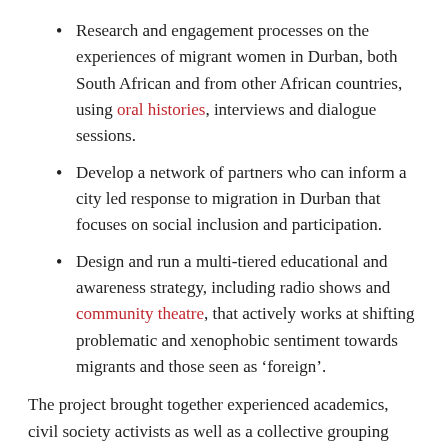Research and engagement processes on the experiences of migrant women in Durban, both South African and from other African countries, using oral histories, interviews and dialogue sessions.
Develop a network of partners who can inform a city led response to migration in Durban that focuses on social inclusion and participation.
Design and run a multi-tiered educational and awareness strategy, including radio shows and community theatre, that actively works at shifting problematic and xenophobic sentiment towards migrants and those seen as ‘foreign’.
The project brought together experienced academics, civil society activists as well as a collective grouping representing migrants from 15 African countries that live and work in Durban. It used creative methods of